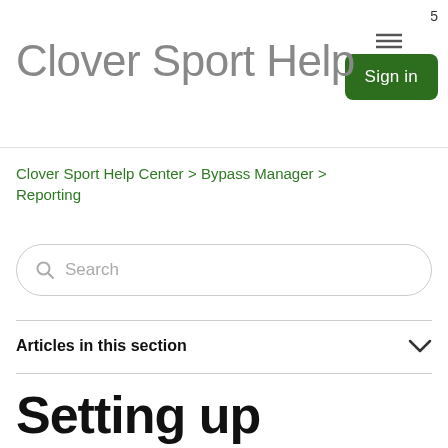Clover Sport Help
Clover Sport Help Center > Bypass Manager > Reporting
Search
Articles in this section
Setting up ClientLine